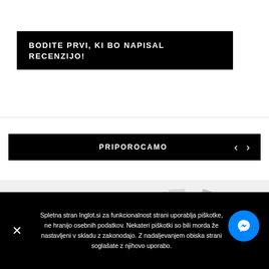BODITE PRVI, KI BO NAPISAL RECENZIJO!
PRIPOROCAMO
[Figure (photo): Partial view of INGLOT product packets/samples at bottom of page]
Spletna stran Inglot.si za funkcionalnost strani uporablja piškotke, ne hranijo osebnih podatkov. Nekateri piškotki so bili morda že nastavljeni v skladu z zakonodajo. Z nadaljevanjem obiska strani soglašate z njihovo uporabo.